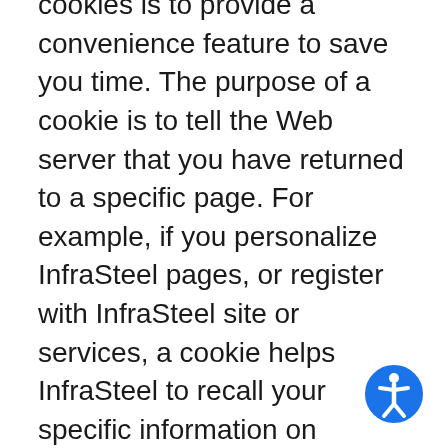cookies is to provide a convenience feature to save you time. The purpose of a cookie is to tell the Web server that you have returned to a specific page. For example, if you personalize InfraSteel pages, or register with InfraSteel site or services, a cookie helps InfraSteel to recall your specific information on subsequent visits. This simplifies the process of recording your personal information, such as billing addresses, shipping addresses, and so on. When you return to the same InfraSteel website, the information you previously provided can be retrieved, so